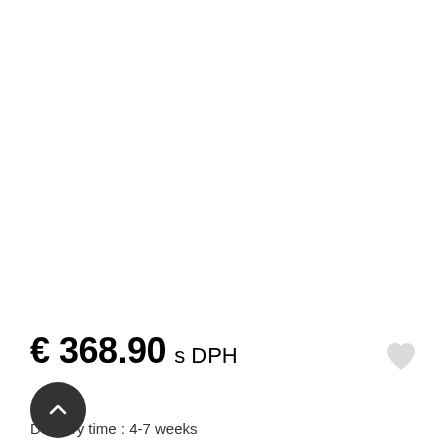€ 368.90 s DPH
Delivery time : 4-7 weeks